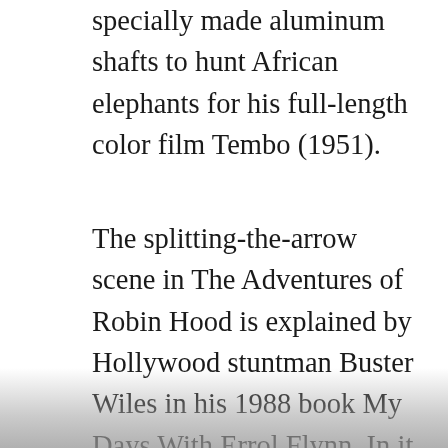specially made aluminum shafts to hunt African elephants for his full-length color film Tembo (1951).
The splitting-the-arrow scene in The Adventures of Robin Hood is explained by Hollywood stuntman Buster Wiles in his 1988 book My Days With Errol Flynn. In it Wiles reveals that although Hill had split the end off of several arrows, he was unable to split the arrow exactly as scripted (from end-to-end). Finally, a specially constructed arrow with a large bladed head was used and shot at the target arrow along a concealed wire. Nevertheless, Hill's accuracy was otherwise